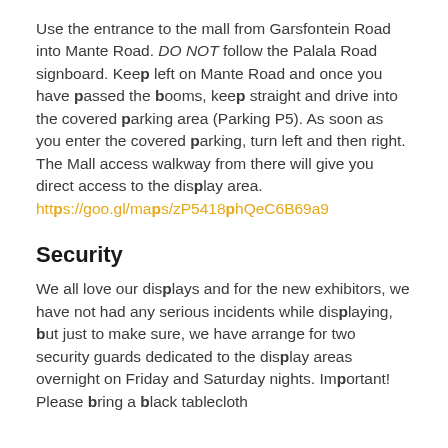Use the entrance to the mall from Garsfontein Road into Mante Road. DO NOT follow the Palala Road signboard. Keep left on Mante Road and once you have passed the booms, keep straight and drive into the covered parking area (Parking P5). As soon as you enter the covered parking, turn left and then right. The Mall access walkway from there will give you direct access to the display area. https://goo.gl/maps/zP5418phQeC6B69a9
Security
We all love our displays and for the new exhibitors, we have not had any serious incidents while displaying, but just to make sure, we have arrange for two security guards dedicated to the display areas overnight on Friday and Saturday nights. Important! Please bring a black tablecloth to cover your display overnight. You...